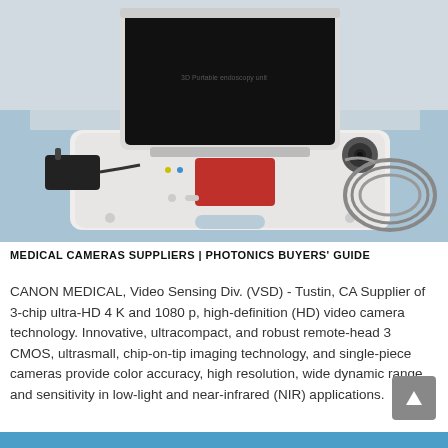[Figure (photo): Photo of a portable medical imaging device (white clamshell laptop-style unit with a black screen open, a red touchpad, power adapter on the left, and an endoscope/camera probe cable coiled on the right), placed on a blue surface.]
MEDICAL CAMERAS SUPPLIERS | PHOTONICS BUYERS' GUIDE
CANON MEDICAL, Video Sensing Div. (VSD) - Tustin, CA Supplier of 3-chip ultra-HD 4 K and 1080 p, high-definition (HD) video camera technology. Innovative, ultracompact, and robust remote-head 3 CMOS, ultrasmall, chip-on-tip imaging technology, and single-piece cameras provide color accuracy, high resolution, wide dynamic range, and sensitivity in low-light and near-infrared (NIR) applications.